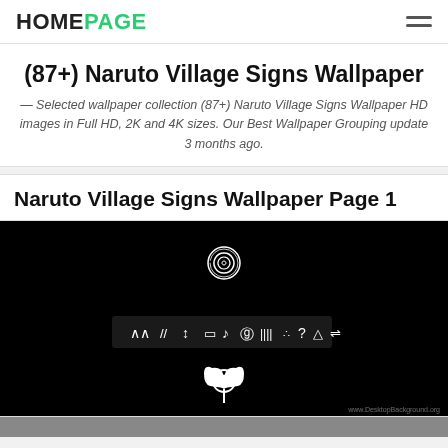HOMEPAGE
(87+) Naruto Village Signs Wallpaper
— Selected wallpaper collection (87+) Naruto Village Signs Wallpaper HD images in Full HD, 2K and 4K sizes. Our Best Wallpaper Grouping update 3 months ago.
Naruto Village Signs Wallpaper Page 1
[Figure (photo): A black background image showing Naruto village signs / symbols in white, including a spiral symbol at top center, a row of various ninja hand sign symbols in the middle, a leaf village symbol at bottom center, and a watermark reading www.DesktopBackground.org]